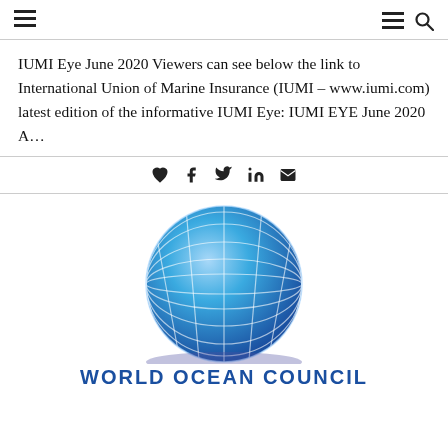≡  ≡ 🔍
IUMI Eye June 2020 Viewers can see below the link to International Union of Marine Insurance (IUMI – www.iumi.com) latest edition of the informative IUMI Eye: IUMI EYE June 2020 A…
[Figure (other): Social sharing icons: heart (like), Facebook, Twitter, LinkedIn, email]
[Figure (logo): World Ocean Council logo — blue globe with grid lines and text 'WORLD OCEAN COUNCIL' in bold blue below]